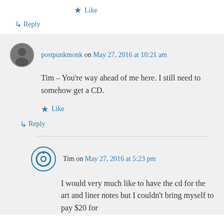★ Like
↳ Reply
postpunkmonk on May 27, 2016 at 10:21 am
Tim – You're way ahead of me here. I still need to somehow get a CD.
★ Like
↳ Reply
Tim on May 27, 2016 at 5:23 pm
I would very much like to have the cd for the art and liner notes but I couldn't bring myself to pay $20 for